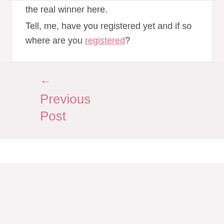the real winner here. Tell, me, have you registered yet and if so where are you registered?
← Previous Post